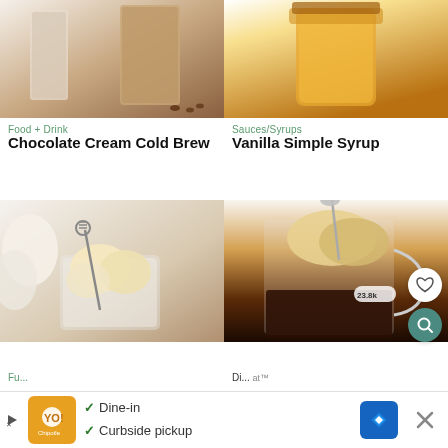[Figure (photo): Chocolate cream cold brew drink in a glass, light brown coffee drink]
[Figure (photo): Vanilla simple syrup in a glass jar, amber colored syrup]
Food + Drink
Sauces/Syrups
Chocolate Cream Cold Brew
Vanilla Simple Syrup
[Figure (photo): Ice cream float in a clear glass mug with decorative spoon]
[Figure (photo): Coffee drink topped with ice cream in a glass mug, spoon lifting ice cream, 23.8k badge, heart and search buttons]
Fu...
Di... at™
[Figure (screenshot): Ad banner: Dine-in / Curbside pickup with logo, navigation icon and close button]